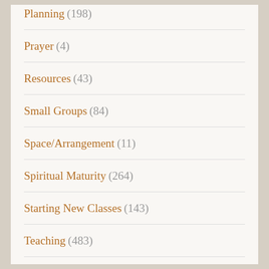Planning (198)
Prayer (4)
Resources (43)
Small Groups (84)
Space/Arrangement (11)
Spiritual Maturity (264)
Starting New Classes (143)
Teaching (483)
Uncategorized (2)